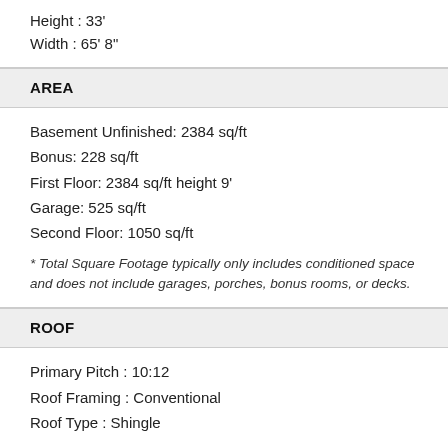Height : 33'
Width : 65' 8"
AREA
Basement Unfinished: 2384 sq/ft
Bonus: 228 sq/ft
First Floor: 2384 sq/ft height 9'
Garage: 525 sq/ft
Second Floor: 1050 sq/ft
* Total Square Footage typically only includes conditioned space and does not include garages, porches, bonus rooms, or decks.
ROOF
Primary Pitch : 10:12
Roof Framing : Conventional
Roof Type : Shingle
EXTERIOR WALL FRAMING